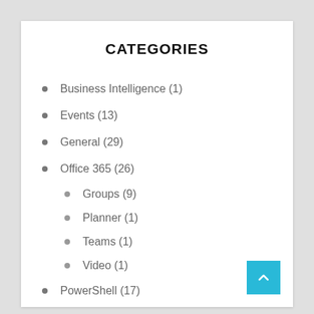CATEGORIES
Business Intelligence (1)
Events (13)
General (29)
Office 365 (26)
Groups (9)
Planner (1)
Teams (1)
Video (1)
PowerShell (17)